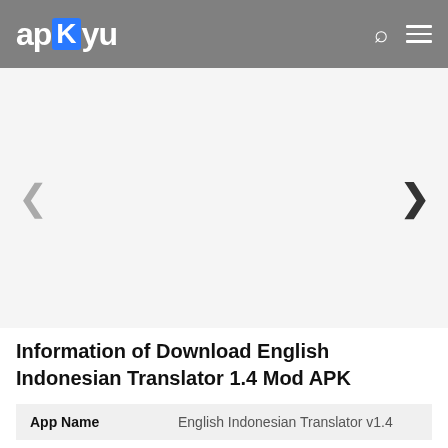apkyu
[Figure (screenshot): App screenshot carousel area with left and right navigation arrows on a light grey background]
Information of Download English Indonesian Translator 1.4 Mod APK
| App Name |  |
| --- | --- |
| App Name | English Indonesian Translator v1.4 |